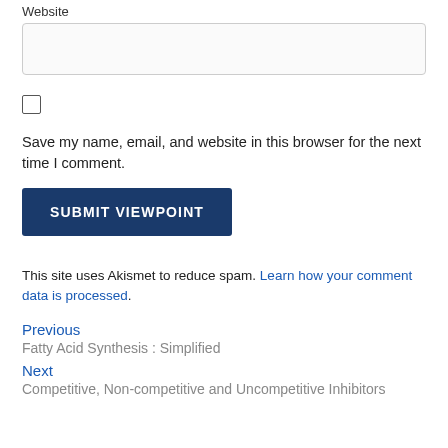Website
Save my name, email, and website in this browser for the next time I comment.
SUBMIT VIEWPOINT
This site uses Akismet to reduce spam. Learn how your comment data is processed.
Previous
Fatty Acid Synthesis : Simplified
Next
Competitive, Non-competitive and Uncompetitive Inhibitors